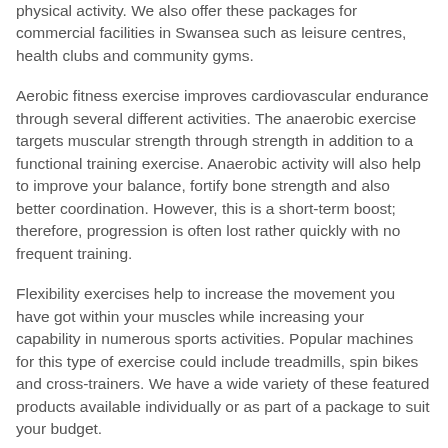physical activity. We also offer these packages for commercial facilities in Swansea such as leisure centres, health clubs and community gyms.
Aerobic fitness exercise improves cardiovascular endurance through several different activities. The anaerobic exercise targets muscular strength through strength in addition to a functional training exercise. Anaerobic activity will also help to improve your balance, fortify bone strength and also better coordination. However, this is a short-term boost; therefore, progression is often lost rather quickly with no frequent training.
Flexibility exercises help to increase the movement you have got within your muscles while increasing your capability in numerous sports activities. Popular machines for this type of exercise could include treadmills, spin bikes and cross-trainers. We have a wide variety of these featured products available individually or as part of a package to suit your budget.
There is a range of commercial gym equipment that meets the exercise needs of both men and women. Check out our